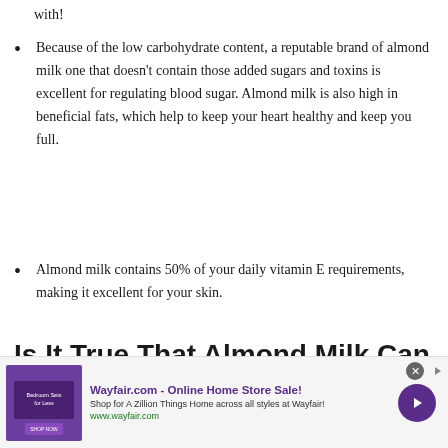with!
Because of the low carbohydrate content, a reputable brand of almond milk one that doesn't contain those added sugars and toxins is excellent for regulating blood sugar. Almond milk is also high in beneficial fats, which help to keep your heart healthy and keep you full.
Almond milk contains 50% of your daily vitamin E requirements, making it excellent for your skin.
Is It True That Almond Milk Can Make You...
[Figure (other): Wayfair.com advertisement banner: 'Wayfair.com - Online Home Store Sale! Shop for A Zillion Things Home across all styles at Wayfair! www.wayfair.com' with bedroom furniture image and purple arrow button.]